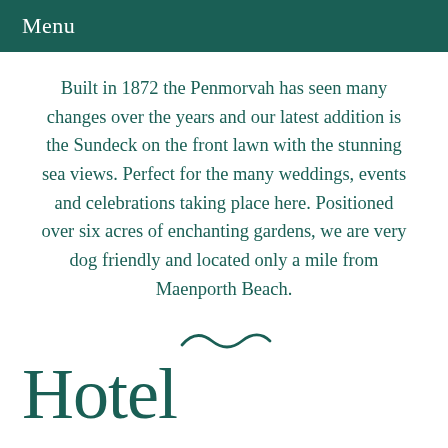Menu
Built in 1872 the Penmorvah has seen many changes over the years and our latest addition is the Sundeck on the front lawn with the stunning sea views. Perfect for the many weddings, events and celebrations taking place here. Positioned over six acres of enchanting gardens, we are very dog friendly and located only a mile from Maenporth Beach.
Hotel